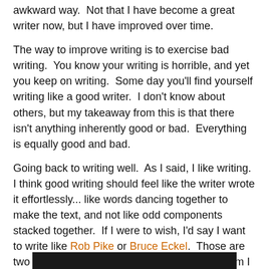awkward way.  Not that I have become a great writer now, but I have improved over time.
The way to improve writing is to exercise bad writing.  You know your writing is horrible, and yet you keep on writing.  Some day you'll find yourself writing like a good writer.  I don't know about others, but my takeaway from this is that there isn't anything inherently good or bad.  Everything is equally good and bad.
Going back to writing well.  As I said, I like writing.  I think good writing should feel like the writer wrote it effortlessly... like words dancing together to make the text, and not like odd components stacked together.  If I were to wish, I'd say I want to write like Rob Pike or Bruce Eckel.  Those are two authors I loved reading... people from whom I have learned many things.
If you have been trying to become better at something, I think you'd like watching this video.  (Source: Daring Fireball)
[Figure (other): Black bar at the bottom of the page, partial image]